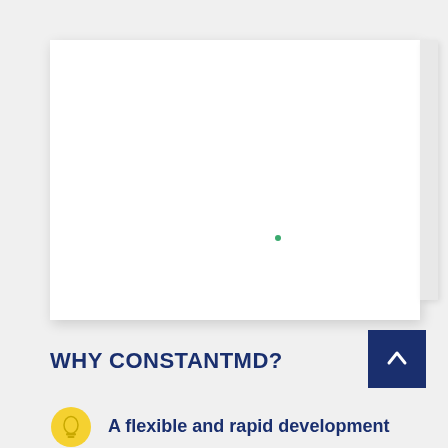[Figure (other): White document/slide card with a small green dot near the center, shown with a side tab, on a light grey background]
WHY CONSTANTMD?
[Figure (other): Dark navy blue square button with a white upward arrow icon]
A flexible and rapid development